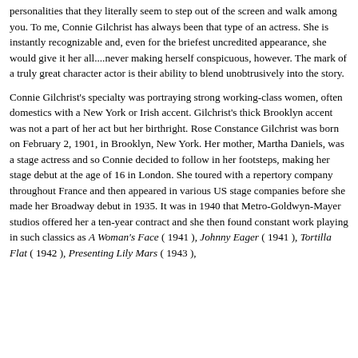personalities that they literally seem to step out of the screen and walk among you. To me, Connie Gilchrist has always been that type of an actress. She is instantly recognizable and, even for the briefest uncredited appearance, she would give it her all....never making herself conspicuous, however. The mark of a truly great character actor is their ability to blend unobtrusively into the story.
Connie Gilchrist's specialty was portraying strong working-class women, often domestics with a New York or Irish accent. Gilchrist's thick Brooklyn accent was not a part of her act but her birthright. Rose Constance Gilchrist was born on February 2, 1901, in Brooklyn, New York. Her mother, Martha Daniels, was a stage actress and so Connie decided to follow in her footsteps, making her stage debut at the age of 16 in London. She toured with a repertory company throughout France and then appeared in various US stage companies before she made her Broadway debut in 1935. It was in 1940 that Metro-Goldwyn-Mayer studios offered her a ten-year contract and she then found constant work playing in such classics as A Woman's Face ( 1941 ), Johnny Eager ( 1941 ), Tortilla Flat ( 1942 ), Presenting Lily Mars ( 1943 ),